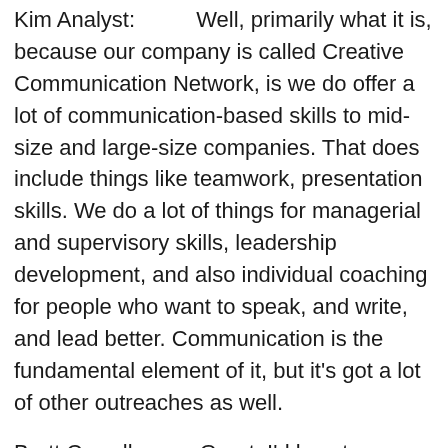Kim Analyst:          Well, primarily what it is, because our company is called Creative Communication Network, is we do offer a lot of communication-based skills to mid-size and large-size companies. That does include things like teamwork, presentation skills. We do a lot of things for managerial and supervisory skills, leadership development, and also individual coaching for people who want to speak, and write, and lead better. Communication is the fundamental element of it, but it's got a lot of other outreaches as well.
Brett Cowell:          Great. I'd love to come back to what the essence of good communication is in a second. What I'd thought I'd start with was around the topic of change. Is change the only constant to expect in the world today?